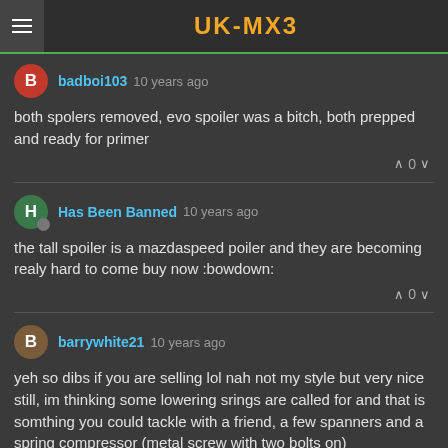UK-MX3
badboi103 10 years ago
both spolers removed, evo spoiler was a bitch, both prepped and ready for primer
Has Been Banned 10 years ago
the tall spoiler is a mazdaspeed poiler and they are becoming realy hard to come buy now :bowdown:
barrywhite21 10 years ago
yeh so dibs if you are selling lol nah not my style but very nice still, im thinking some lowering srings are called for and that is somthing you could tackle with a friend, a few spanners and a spring compressor (metal screw with two bolts on)